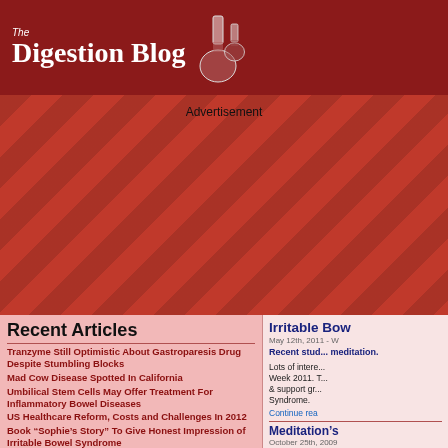The Digestion Blog
[Figure (illustration): Red banner header with 'The Digestion Blog' text and laboratory flask icons on a dark red background]
Advertisement
[Figure (infographic): Red diagonal striped advertisement banner area]
Recent Articles
Tranzyme Still Optimistic About Gastroparesis Drug Despite Stumbling Blocks
Mad Cow Disease Spotted In California
Umbilical Stem Cells May Offer Treatment For Inflammatory Bowel Diseases
US Healthcare Reform, Costs and Challenges In 2012
Book "Sophie's Story" To Give Honest Impression of Irritable Bowel Syndrome
Advertisement
Topics
Irritable Bo...
May 12th, 2011 - W...
Recent stud... meditation.
Lots of intere... Week 2011. T... & support gr... Syndrome.
Continue rea...
Meditation's...
October 25th, 2009
When I was o...